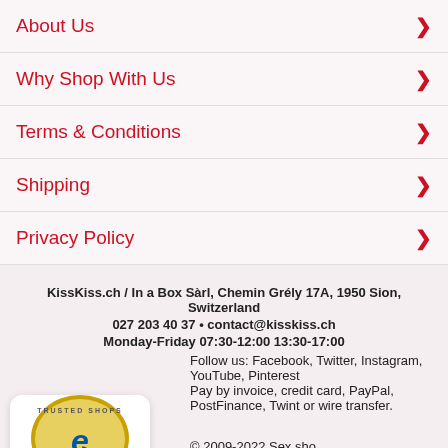About Us
Why Shop With Us
Terms & Conditions
Shipping
Privacy Policy
KissKiss.ch / In a Box Sàrl, Chemin Grély 17A, 1950 Sion, Switzerland
027 203 40 37 • contact@kisskiss.ch
Monday-Friday 07:30-12:00 13:30-17:00
Follow us: Facebook, Twitter, Instagram, YouTube, Pinterest
Pay by invoice, credit card, PayPal, PostFinance, Twint or wire transfer.
© 2009-2022 Sex sho
[Figure (logo): Trusted Shops e-guarantee badge with 4.84 star rating]
[Figure (infographic): Social media share buttons: Facebook, Twitter, Pinterest, WhatsApp, SMS, Email]